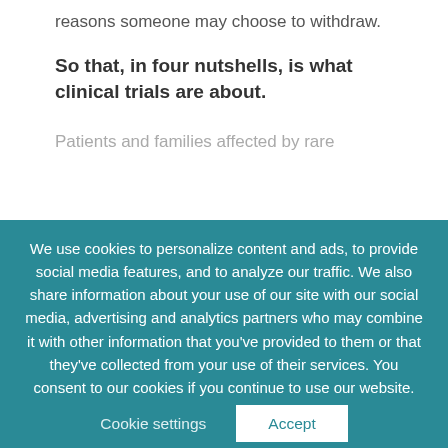reasons someone may choose to withdraw.
So that, in four nutshells, is what clinical trials are about.
Patients and families affected by rare
We use cookies to personalize content and ads, to provide social media features, and to analyze our traffic. We also share information about your use of our site with our social media, advertising and analytics partners who may combine it with other information that you've provided to them or that they've collected from your use of their services. You consent to our cookies if you continue to use our website.
Cookie settings
Accept